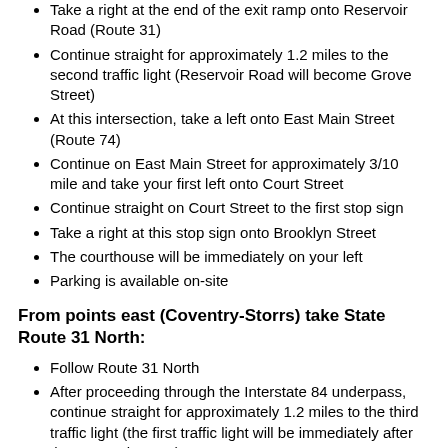Take a right at the end of the exit ramp onto Reservoir Road (Route 31)
Continue straight for approximately 1.2 miles to the second traffic light (Reservoir Road will become Grove Street)
At this intersection, take a left onto East Main Street (Route 74)
Continue on East Main Street for approximately 3/10 mile and take your first left onto Court Street
Continue straight on Court Street to the first stop sign
Take a right at this stop sign onto Brooklyn Street
The courthouse will be immediately on your left
Parking is available on-site
From points east (Coventry-Storrs) take State Route 31 North:
Follow Route 31 North
After proceeding through the Interstate 84 underpass, continue straight for approximately 1.2 miles to the third traffic light (the first traffic light will be immediately after the I-84 underpass)